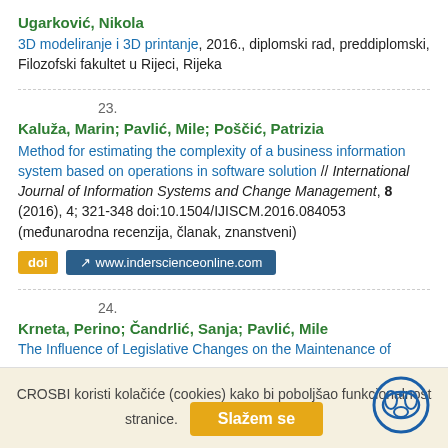Ugarković, Nikola
3D modeliranje i 3D printanje, 2016., diplomski rad, preddiplomski, Filozofski fakultet u Rijeci, Rijeka
23.
Kaluža, Marin; Pavlić, Mile; Poščić, Patrizia
Method for estimating the complexity of a business information system based on operations in software solution // International Journal of Information Systems and Change Management, 8 (2016), 4; 321-348 doi:10.1504/IJISCM.2016.084053 (međunarodna recenzija, članak, znanstveni)
doi   www.inderscienceonline.com
24.
Krneta, Perino; Čandrlić, Sanja; Pavlić, Mile
The Influence of Legislative Changes on the Maintenance of
CROSBI koristi kolačiće (cookies) kako bi poboljšao funkcionalnost stranice.  Slažem se